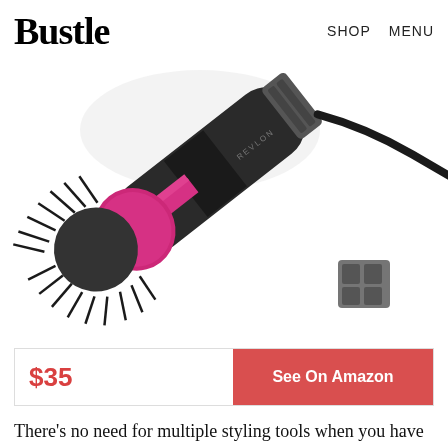Bustle   SHOP   MENU
[Figure (photo): Revlon one-step volumizer hair dryer brush, black with pink accent, angled diagonally on white background]
$35
See On Amazon
There’s no need for multiple styling tools when you have this one-step volumizer at hand. Plug in this